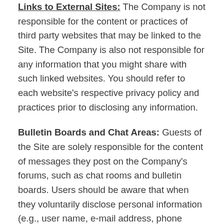Links to External Sites: The Company is not responsible for the content or practices of third party websites that may be linked to the Site. The Company is also not responsible for any information that you might share with such linked websites. You should refer to each website's respective privacy policy and practices prior to disclosing any information.
Bulletin Boards and Chat Areas: Guests of the Site are solely responsible for the content of messages they post on the Company's forums, such as chat rooms and bulletin boards. Users should be aware that when they voluntarily disclose personal information (e.g., user name, e-mail address, phone number) on the bulletin boards or in the chat areas, that